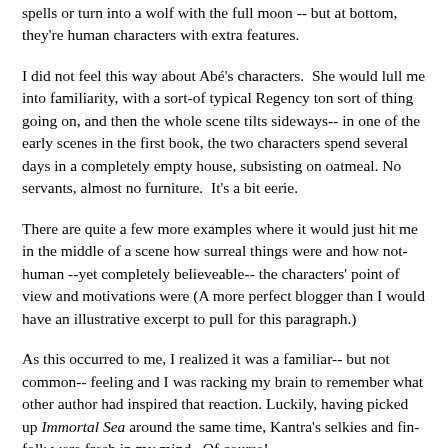spells or turn into a wolf with the full moon -- but at bottom, they're human characters with extra features.
I did not feel this way about Abé's characters.  She would lull me into familiarity, with a sort-of typical Regency ton sort of thing going on, and then the whole scene tilts sideways-- in one of the early scenes in the first book, the two characters spend several days in a completely empty house, subsisting on oatmeal. No servants, almost no furniture.  It's a bit eerie.
There are quite a few more examples where it would just hit me in the middle of a scene how surreal things were and how not-human --yet completely believeable-- the characters' point of view and motivations were (A more perfect blogger than I would have an illustrative excerpt to pull for this paragraph.)
As this occurred to me, I realized it was a familiar-- but not common-- feeling and I was racking my brain to remember what other author had inspired that reaction. Luckily, having picked up Immortal Sea around the same time, Kantra's selkies and fin-folk were fresh in my mind.  Of course!